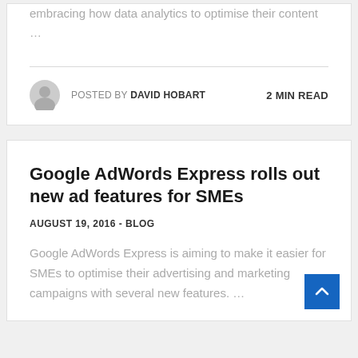embracing how data analytics to optimise their content …
POSTED BY DAVID HOBART   2 MIN READ
Google AdWords Express rolls out new ad features for SMEs
AUGUST 19, 2016  -  BLOG
Google AdWords Express is aiming to make it easier for SMEs to optimise their advertising and marketing campaigns with several new features. …